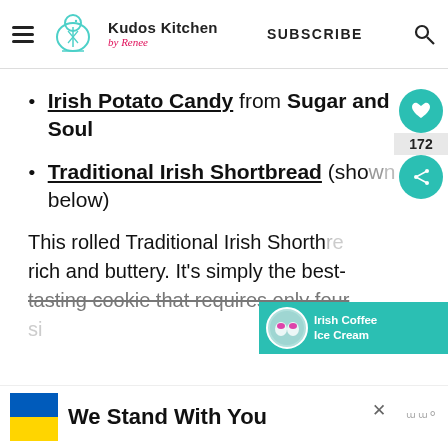Kudos Kitchen by Renee | SUBSCRIBE
Irish Potato Candy from Sugar and Soul
Traditional Irish Shortbread (shown below)
This rolled Traditional Irish Shortbread is rich and buttery. It's simply the best-tasting cookie that requires only four si...
[Figure (other): Social share widget showing heart icon and count 172 and share icon in teal circles]
[Figure (other): Promoted content card for Irish Coffee Ice Cream with thumbnail]
[Figure (other): Banner with Ukrainian flag colors and text 'We Stand With You']